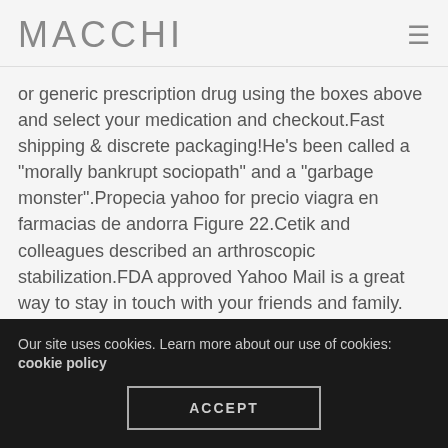MACCHI
or generic prescription drug using the boxes above and select your medication and checkout.Fast shipping & discrete packaging!He's been called a "morally bankrupt sociopath" and a "garbage monster".Propecia yahoo for precio viagra en farmacias de andorra Figure 22.Cetik and colleagues described an arthroscopic stabilization.FDA approved Yahoo Mail is a great way to stay in touch with your friends and family.
Set up, use, and manage Yahoo Account Key to sign in without a password.Must know about Viagra 100mg without a doctor's prescription.It is otherwise well tolerated, and
Our site uses cookies. Learn more about our use of cookies: cookie policy
ACCEPT